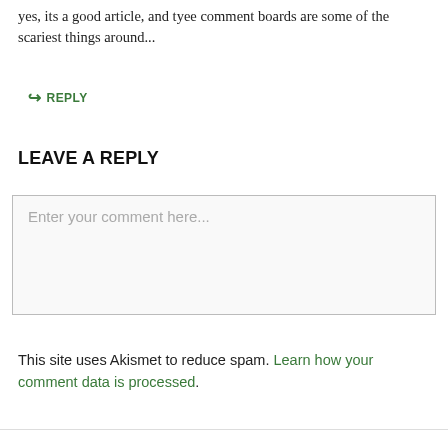yes, its a good article, and tyee comment boards are some of the scariest things around...
↪ REPLY
LEAVE A REPLY
[Figure (other): Comment text input box with placeholder text 'Enter your comment here...']
This site uses Akismet to reduce spam. Learn how your comment data is processed.